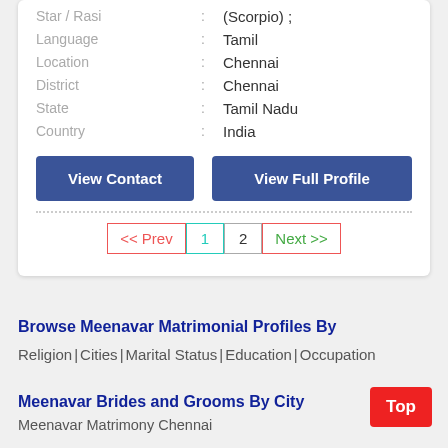Star / Rasi : (Scorpio) ;
Language : Tamil
Location : Chennai
District : Chennai
State : Tamil Nadu
Country : India
View Contact | View Full Profile
<< Prev  1  2  Next >>
Browse Meenavar Matrimonial Profiles By
Religion | Cities | Marital Status | Education | Occupation
Meenavar Brides and Grooms By City
Meenavar Matrimony Chennai